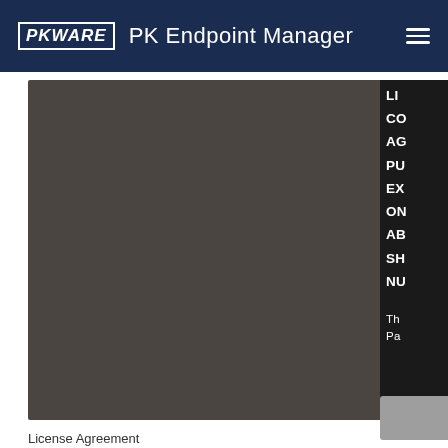PKWARE  PK Endpoint Manager
[Figure (screenshot): Dark brownish-gray content panel taking up the main area of the page, appearing to be a software interface or document viewer with a dark background.]
LIC
CO
AG
PU
EX
ON
AB
SH
NU
Th
Pa
License Agreement